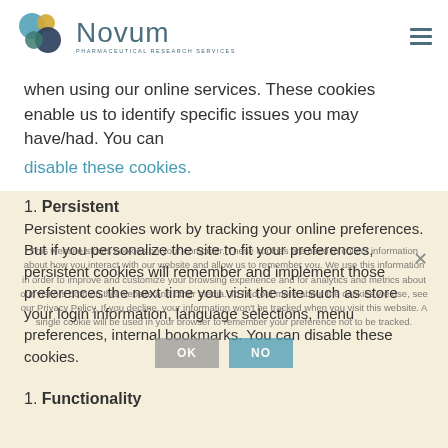Novum Pharmaceutical Research Services
when using our online services. These cookies enable us to identify specific issues you may have/had. You can disable these cookies.
1. Persistent
Persistent cookies work by tracking your online preferences. But if you personalize the site to fit your preferences, persistent cookies will remember and implement those preferences the next time you visit the site such as store your login information, language selections, menu preferences, internal bookmarks. You can disable these cookies.
This website stores cookies on your computer. These cookies are used to collect information about how you interact with our website and allow us to remember you. We use this information in order to improve and customize your browsing experience and for analytics and metrics about our visitors both on this website and other media. To find out more about the cookies we use, see our Privacy Policy. If you decline, your information won't be tracked when you visit this website. A single cookie will be used in your browser to remember your preference not to be tracked.
1. Functionality